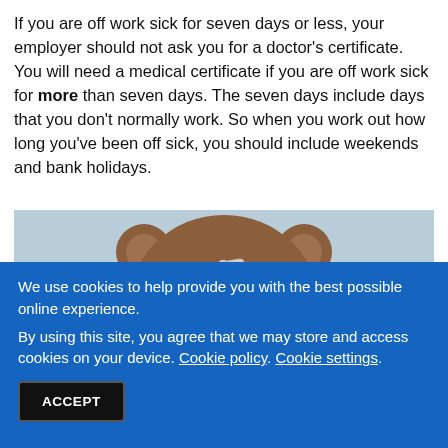If you are off work sick for seven days or less, your employer should not ask you for a doctor's certificate. You will need a medical certificate if you are off work sick for more than seven days. The seven days include days that you don't normally work. So when you work out how long you've been off sick, you should include weekends and bank holidays.
[Figure (photo): A brown teddy bear with a bandage cross on its forehead, photographed against a light blue background.]
We use cookies to help provide you with the best possible online experience. By using this site, you agree that we may store and access cookies on your device. Cookie policy. Cookie settings.
ACCEPT